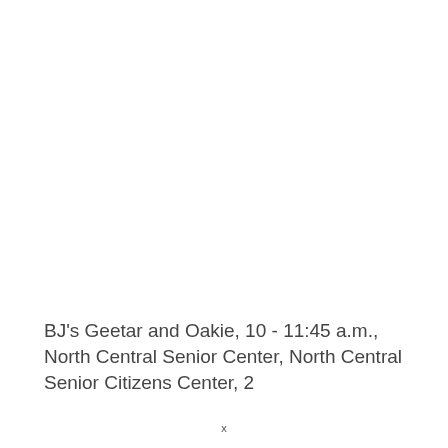BJ's Geetar and Oakie, 10 - 11:45 a.m., North Central Senior Center, North Central Senior Citizens Center, 2
x